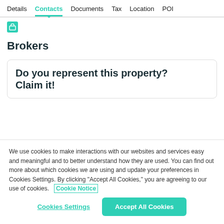Details | Contacts | Documents | Tax | Location | POI
Brokers
Do you represent this property? Claim it!
We use cookies to make interactions with our websites and services easy and meaningful and to better understand how they are used. You can find out more about which cookies we are using and update your preferences in Cookies Settings. By clicking "Accept All Cookies," you are agreeing to our use of cookies.  Cookie Notice
Cookies Settings    Accept All Cookies